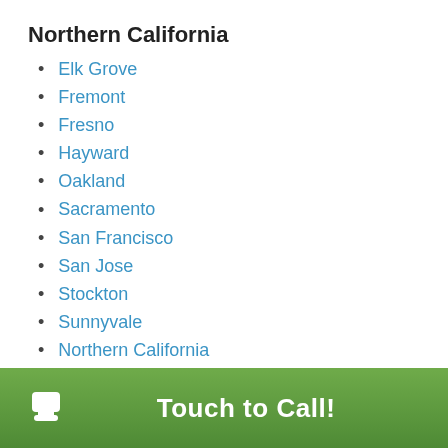Northern California
Elk Grove
Fremont
Fresno
Hayward
Oakland
Sacramento
San Francisco
San Jose
Stockton
Sunnyvale
Northern California
Southern California
Anaheim
Burbank
Touch to Call!